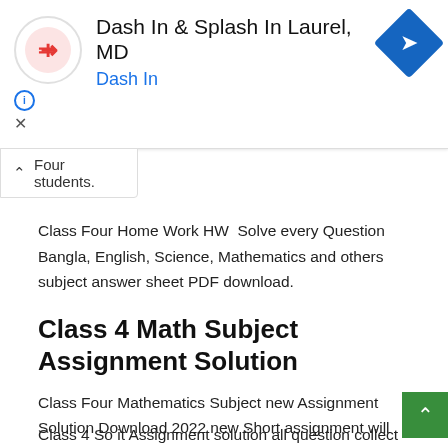[Figure (other): Advertisement banner for Dash In & Splash In Laurel, MD with Dash In logo (red D on circle) and blue diamond navigation icon]
Four students.
Class Four Home Work HW  Solve every Question Bangla, English, Science, Mathematics and others subject answer sheet PDF download.
Class 4 Math Subject Assignment Solution
Class Four Mathematics Subject new Assignment Solution Download 2022 new Short assignment will be Published. Bangladesh Lockdown so Primary online class and new Assignment Will be Published for All Students.
Class 4 So it Assignment solution all question collection